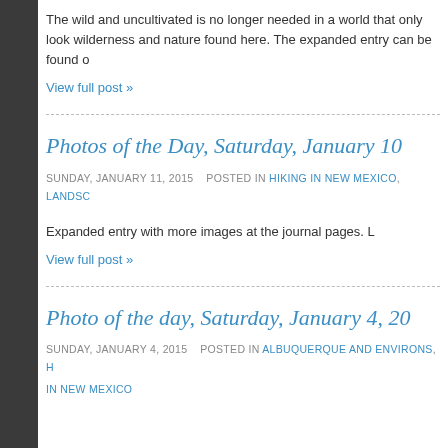The wild and uncultivated is no longer needed in a world that only look wilderness and nature found here. The expanded entry can be found o
View full post »
Photos of the Day, Saturday, January 10
SUNDAY, JANUARY 11, 2015   POSTED IN HIKING IN NEW MEXICO, LANDSC
Expanded entry with more images at the journal pages. L
View full post »
Photo of the day, Saturday, January 4, 20
SUNDAY, JANUARY 4, 2015   POSTED IN ALBUQUERQUE AND ENVIRONS, H IN NEW MEXICO